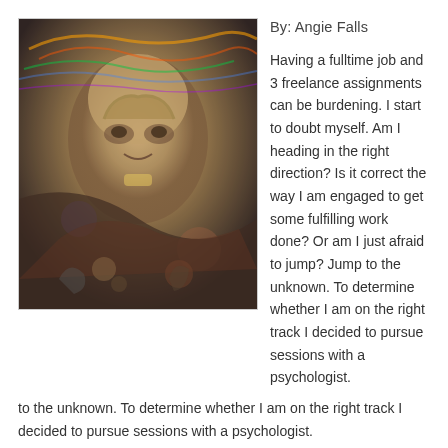[Figure (photo): A psychedelic artistic illustration featuring a detailed portrait of Sigmund Freud surrounded by surreal, colorful swirling figures and imagery with rainbow light effects.]
By: Angie Falls
Having a fulltime job and 3 freelance assignments can be burdening. I start to doubt myself. Am I heading in the right direction? Is it correct the way I am engaged to get some fulfilling work done? Or am I just afraid to jump? Jump to the unknown. To determine whether I am on the right track I decided to pursue sessions with a psychologist.
Psychoanalysis is worth trying for personal growth on a personal and professional level.